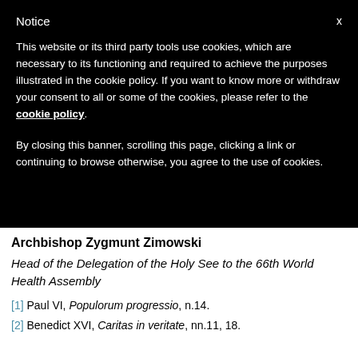Notice
This website or its third party tools use cookies, which are necessary to its functioning and required to achieve the purposes illustrated in the cookie policy. If you want to know more or withdraw your consent to all or some of the cookies, please refer to the cookie policy.
By closing this banner, scrolling this page, clicking a link or continuing to browse otherwise, you agree to the use of cookies.
Archbishop Zygmunt Zimowski
Head of the Delegation of the Holy See to the 66th World Health Assembly
[1] Paul VI, Populorum progressio, n.14.
[2] Benedict XVI, Caritas in veritate, nn.11, 18.